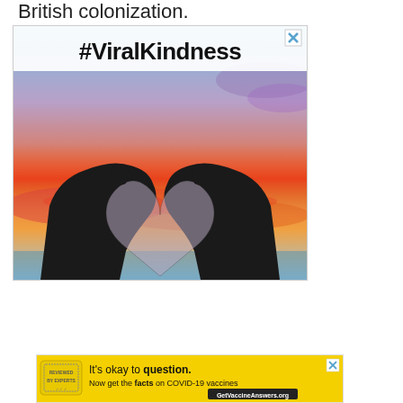British colonization.
[Figure (photo): Advertisement image showing two hands forming a heart shape silhouetted against a colorful sunset sky, with text '#ViralKindness' displayed at the top. A close/dismiss X button appears in the top right corner.]
[Figure (infographic): Yellow banner advertisement with text 'It’s okay to question. Now get the facts on COVID-19 vaccines' with a GetVaccineAnswers.org button, a stamp/seal logo on the left, and a dismiss X button on the top right.]